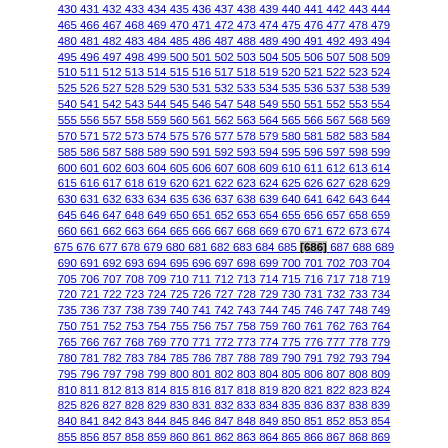430 431 432 433 434 435 436 437 438 439 440 441 442 443 444 465 466 467 468 469 470 471 472 473 474 475 476 477 478 479 480 481 482 483 484 485 486 487 488 489 490 491 492 493 494 495 496 497 498 499 500 501 502 503 504 505 506 507 508 509 510 511 512 513 514 515 516 517 518 519 520 521 522 523 524 525 526 527 528 529 530 531 532 533 534 535 536 537 538 539 540 541 542 543 544 545 546 547 548 549 550 551 552 553 554 555 556 557 558 559 560 561 562 563 564 565 566 567 568 569 570 571 572 573 574 575 576 577 578 579 580 581 582 583 584 585 586 587 588 589 590 591 592 593 594 595 596 597 598 599 600 601 602 603 604 605 606 607 608 609 610 611 612 613 614 615 616 617 618 619 620 621 622 623 624 625 626 627 628 629 630 631 632 633 634 635 636 637 638 639 640 641 642 643 644 645 646 647 648 649 650 651 652 653 654 655 656 657 658 659 660 661 662 663 664 665 666 667 668 669 670 671 672 673 674 675 676 677 678 679 680 681 682 683 684 685 [686] 687 688 689 690 691 692 693 694 695 696 697 698 699 700 701 702 703 704 705 706 707 708 709 710 711 712 713 714 715 716 717 718 719 720 721 722 723 724 725 726 727 728 729 730 731 732 733 734 735 736 737 738 739 740 741 742 743 744 745 746 747 748 749 750 751 752 753 754 755 756 757 758 759 760 761 762 763 764 765 766 767 768 769 770 771 772 773 774 775 776 777 778 779 780 781 782 783 784 785 786 787 788 789 790 791 792 793 794 795 796 797 798 799 800 801 802 803 804 805 806 807 808 809 810 811 812 813 814 815 816 817 818 819 820 821 822 823 824 825 826 827 828 829 830 831 832 833 834 835 836 837 838 839 840 841 842 843 844 845 846 847 848 849 850 851 852 853 854 855 856 857 858 859 860 861 862 863 864 865 866 867 868 869 870 871 872 873 874 875 876 877 878 879 880 881 882 883 884 885 886 887 888 889 890 891 892 893 894 895 896 897 898 899 900 901 902 903 904 905 906 907 908 909 910 911 912 913 914 915 916 917 918 919 920 921 922 923 924 925 926 927 928 929 930 931 932 933 934 935 936 937 938 939 940 941 942 943 944 945 946 947 948 949 950 951 952 953 954 955 956 957 958 959 960 961 962 963 964 965 966 967 968 969 970 971 972 973 974 975 976 977 978 979 980 981 982 983 984 985 986 987 988 989 990 991 992 993 994 995 996 997 998 999 1000 1001 1002 1003 1004 1005 1006 1007 1008 1009 1010 1011 1012 1013 1014 1015